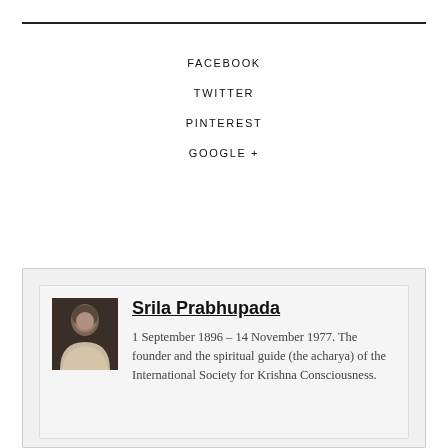FACEBOOK
TWITTER
PINTEREST
GOOGLE +
Srila Prabhupada
1 September 1896 – 14 November 1977. The founder and the spiritual guide (the acharya) of the International Society for Krishna Consciousness.